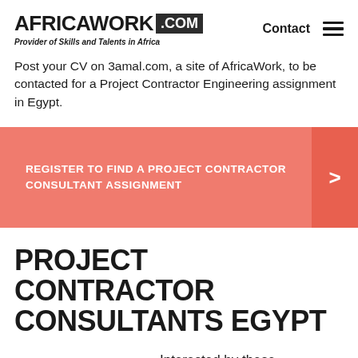AFRICAWORK .COM — Provider of Skills and Talents in Africa | Contact
Post your CV on 3amal.com, a site of AfricaWork, to be contacted for a Project Contractor Engineering assignment in Egypt.
REGISTER TO FIND A PROJECT CONTRACTOR CONSULTANT ASSIGNMENT >
PROJECT CONTRACTOR CONSULTANTS EGYPT
Interested by these Consultants? Contact here the Technical Assistance Service of AfricaWork.